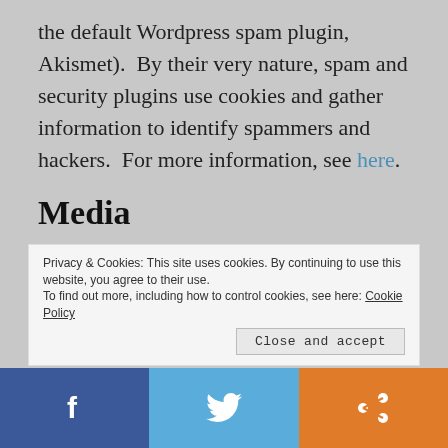the default Wordpress spam plugin, Akismet).  By their very nature, spam and security plugins use cookies and gather information to identify spammers and hackers.  For more information, see here.
Media
If you upload images to the website, you should avoid uploading images with embedded location data (EXIF GPS) included. Visitors to the website can download and extract any location data from images on the
Privacy & Cookies: This site uses cookies. By continuing to use this website, you agree to their use.
To find out more, including how to control cookies, see here: Cookie Policy
Close and accept